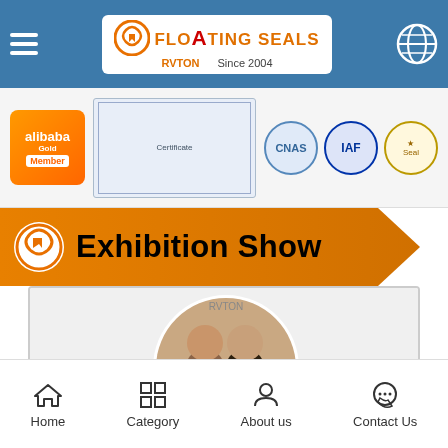RVTON Floating Seals Since 2004
[Figure (photo): Certification badges including Alibaba Gold Member, document certificate, CNAS logo, IAF logo, and a circular stamp/seal]
[Figure (infographic): Orange arrow-shaped Exhibition Show banner with RVTON logo on the left]
[Figure (photo): Exhibition show photo collage with circular cropped photos of staff and visitors at trade shows]
Home  Category  About us  Contact Us